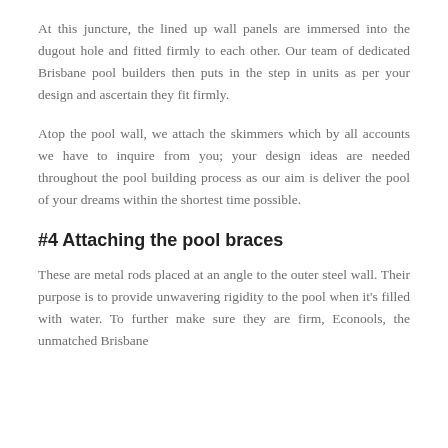At this juncture, the lined up wall panels are immersed into the dugout hole and fitted firmly to each other. Our team of dedicated Brisbane pool builders then puts in the step in units as per your design and ascertain they fit firmly.
Atop the pool wall, we attach the skimmers which by all accounts we have to inquire from you; your design ideas are needed throughout the pool building process as our aim is deliver the pool of your dreams within the shortest time possible.
#4 Attaching the pool braces
These are metal rods placed at an angle to the outer steel wall. Their purpose is to provide unwavering rigidity to the pool when it's filled with water. To further make sure they are firm, Econools, the unmatched Brisbane